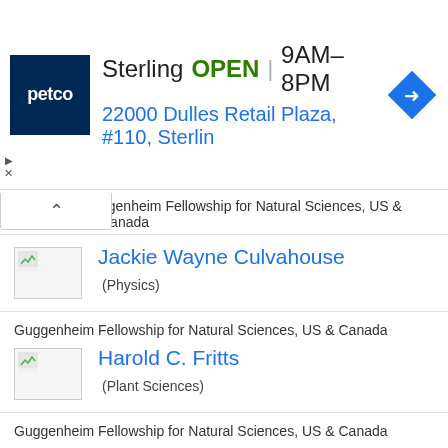[Figure (screenshot): Petco advertisement banner: logo, store name 'Sterling', status 'OPEN', hours '9AM–8PM', address '22000 Dulles Retail Plaza, #110, Sterlin', and a navigation icon]
ggenheim Fellowship for Natural Sciences, US & Canada
Jackie Wayne Culvahouse
(Physics)
Guggenheim Fellowship for Natural Sciences, US & Canada
Harold C. Fritts
(Plant Sciences)
Guggenheim Fellowship for Natural Sciences, US & Canada
Endre A. Balazs
(Medicine & Health)